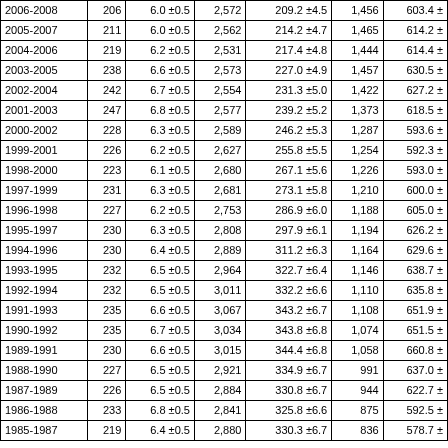| 2006-2008 | 206 | 6.0 ±0.5 | 2,572 | 209.2 ±4.5 | 1,456 | 603.4 ± |
| 2005-2007 | 211 | 6.0 ±0.5 | 2,562 | 214.2 ±4.7 | 1,465 | 614.2 ± |
| 2004-2006 | 219 | 6.2 ±0.5 | 2,531 | 217.4 ±4.8 | 1,444 | 614.4 ± |
| 2003-2005 | 238 | 6.6 ±0.5 | 2,573 | 227.0 ±4.9 | 1,457 | 630.5 ± |
| 2002-2004 | 242 | 6.7 ±0.5 | 2,554 | 231.3 ±5.0 | 1,422 | 627.2 ± |
| 2001-2003 | 247 | 6.8 ±0.5 | 2,577 | 239.2 ±5.2 | 1,373 | 618.5 ± |
| 2000-2002 | 228 | 6.3 ±0.5 | 2,589 | 246.2 ±5.3 | 1,287 | 593.6 ± |
| 1999-2001 | 226 | 6.2 ±0.5 | 2,627 | 255.8 ±5.5 | 1,254 | 592.3 ± |
| 1998-2000 | 223 | 6.1 ±0.5 | 2,680 | 267.1 ±5.6 | 1,226 | 593.0 ± |
| 1997-1999 | 231 | 6.3 ±0.5 | 2,681 | 273.1 ±5.8 | 1,210 | 600.0 ± |
| 1996-1998 | 227 | 6.2 ±0.5 | 2,753 | 286.9 ±6.0 | 1,188 | 605.0 ± |
| 1995-1997 | 230 | 6.3 ±0.5 | 2,808 | 297.9 ±6.1 | 1,194 | 626.2 ± |
| 1994-1996 | 230 | 6.4 ±0.5 | 2,889 | 311.2 ±6.3 | 1,164 | 629.6 ± |
| 1993-1995 | 232 | 6.5 ±0.5 | 2,964 | 322.7 ±6.4 | 1,146 | 638.7 ± |
| 1992-1994 | 232 | 6.5 ±0.5 | 3,011 | 332.2 ±6.6 | 1,110 | 635.8 ± |
| 1991-1993 | 235 | 6.6 ±0.5 | 3,067 | 343.2 ±6.7 | 1,108 | 651.9 ± |
| 1990-1992 | 235 | 6.7 ±0.5 | 3,034 | 343.8 ±6.8 | 1,074 | 651.5 ± |
| 1989-1991 | 230 | 6.6 ±0.5 | 3,015 | 344.4 ±6.8 | 1,058 | 660.8 ± |
| 1988-1990 | 227 | 6.5 ±0.5 | 2,921 | 334.9 ±6.7 | 991 | 637.0 ± |
| 1987-1989 | 226 | 6.5 ±0.5 | 2,884 | 330.8 ±6.7 | 944 | 622.7 ± |
| 1986-1988 | 233 | 6.8 ±0.5 | 2,841 | 325.8 ±6.6 | 875 | 592.5 ± |
| 1985-1987 | 219 | 6.4 ±0.5 | 2,880 | 330.3 ±6.7 | 836 | 578.7 ± |